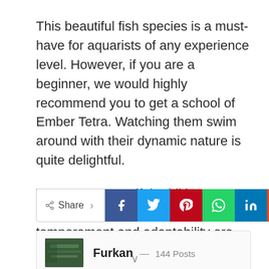This beautiful fish species is a must-have for aquarists of any experience level. However, if you are a beginner, we would highly recommend you to get a school of Ember Tetra. Watching them swim around with their dynamic nature is quite delightful.
They are a beautiful addition to aquariums, and their peaceful temperament and adaptability are excellent for maintenance.
[Figure (infographic): Social share buttons: Share label with arrow, followed by Facebook (blue), Twitter (light blue), Pinterest (dark red), WhatsApp (green), LinkedIn (dark blue), Reddit (orange) icon buttons]
Furkan — 144 Posts